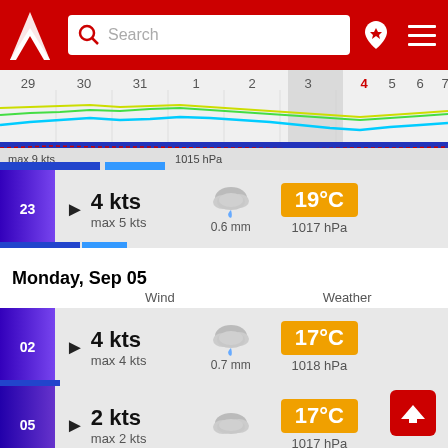[Figure (screenshot): Navigation app header with red background, logo, search bar, map pin icon, and hamburger menu]
[Figure (line-chart): Weather chart strip showing date axis (29-7), wind speed lines, and pressure line (max 9 kts, 1015 hPa)]
23  4 kts  max 5 kts  0.6 mm  19°C  1017 hPa
Monday, Sep 05
Wind  Weather
02  4 kts  max 4 kts  0.7 mm  17°C  1018 hPa
05  2 kts  max 2 kts  17°C  1017 hPa
08  2 kts  19°C